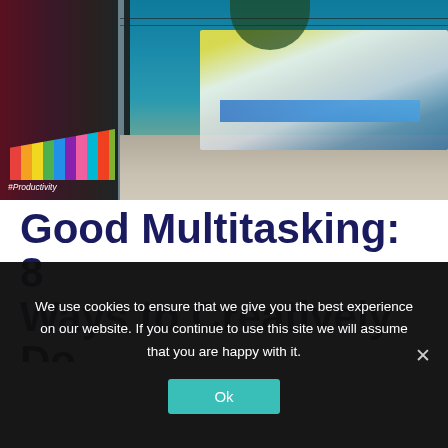[Figure (photo): Urban street scene with a bus stop featuring colorful seats on the left and a motion-blurred bus on the right, taken at dusk with a teal/blue sky. Text overlay reads #Productivity in the lower left corner.]
Good Multitasking: 8 Ways to Creatively Do Two Things at the Same
We use cookies to ensure that we give you the best experience on our website. If you continue to use this site we will assume that you are happy with it.
Ok